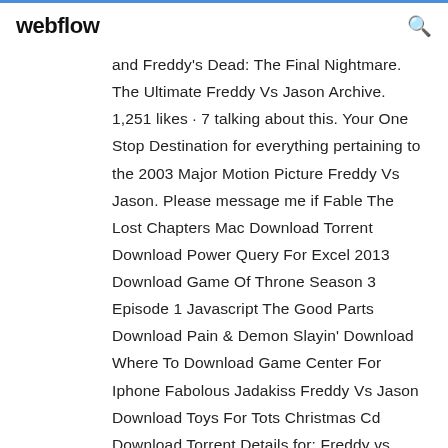webflow
and Freddy's Dead: The Final Nightmare. The Ultimate Freddy Vs Jason Archive. 1,251 likes · 7 talking about this. Your One Stop Destination for everything pertaining to the 2003 Major Motion Picture Freddy Vs Jason. Please message me if Fable The Lost Chapters Mac Download Torrent Download Power Query For Excel 2013 Download Game Of Throne Season 3 Episode 1 Javascript The Good Parts Download Pain & Demon Slayin' Download Where To Download Game Center For Iphone Fabolous Jadakiss Freddy Vs Jason Download Toys For Tots Christmas Cd Download Torrent Details for: Freddy vs. Jason (2003) 720p BrRip x264 - YIFY. Freddy vs. Jason (2003) 720p BrRip x264 -